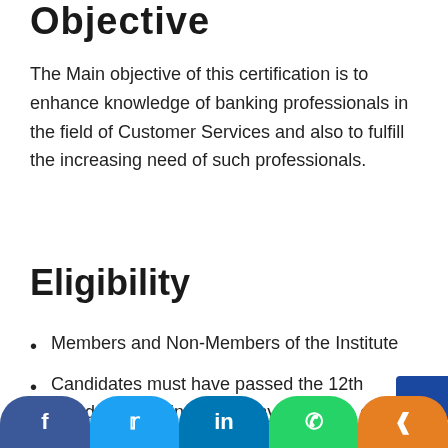Objective
The Main objective of this certification is to enhance knowledge of banking professionals in the field of Customer Services and also to fulfill the increasing need of such professionals.
Eligibility
Members and Non-Members of the Institute
Candidates must have passed the 12th standard examination in any discipline or its equivalent or Candidate who have completed BC/BF examination conducted by IIBF